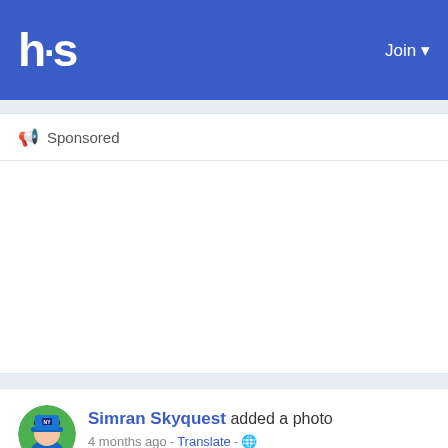hs  Join
Sponsored
[Figure (other): Advertisement/sponsored content area (blank white space)]
Simran Skyquest added a photo
4 months ago - Translate - 🌐
Global Asset Management Market